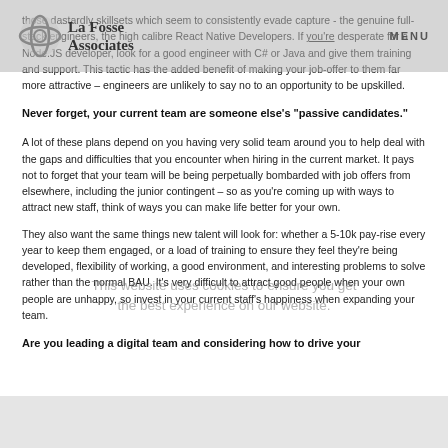La Fosse Associates — MENU
those dastardly skillsets which seem to consistently evade capture - the genuine full-stack engineers, the high calibre React Native Developers. If you're desperate for a Node.JS developer, look for a good engineer with C# or Java and give them training and support. This tactic has the added benefit of making your job-offer to them far more attractive – engineers are unlikely to say no to an opportunity to be upskilled.
Never forget, your current team are someone else's "passive candidates."
A lot of these plans depend on you having very solid team around you to help deal with the gaps and difficulties that you encounter when hiring in the current market. It pays not to forget that your team will be being perpetually bombarded with job offers from elsewhere, including the junior contingent – so as you're coming up with ways to attract new staff, think of ways you can make life better for your own.
They also want the same things new talent will look for: whether a 5-10k pay-rise every year to keep them engaged, or a load of training to ensure they feel they're being developed, flexibility of working, a good environment, and interesting problems to solve rather than the normal BAU. It's very difficult to attract good people when your own people are unhappy, so invest in your current staff's happiness when expanding your team.
Are you leading a digital team and considering how to drive your